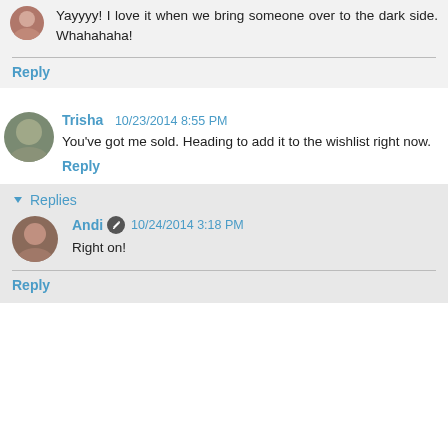Yayyyy! I love it when we bring someone over to the dark side. Whahahaha!
Reply
Trisha 10/23/2014 8:55 PM
You've got me sold. Heading to add it to the wishlist right now.
Reply
Replies
Andi 10/24/2014 3:18 PM
Right on!
Reply